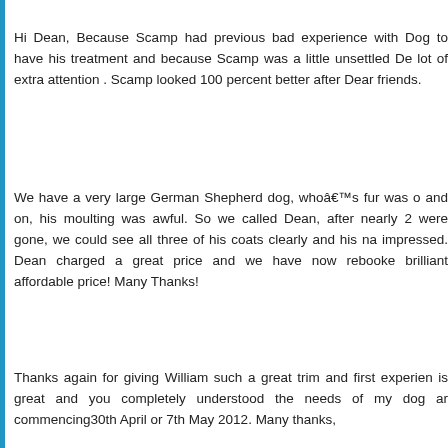Hi Dean, Because Scamp had previous bad experience with Dog to have his treatment and because Scamp was a little unsettled De lot of extra attention . Scamp looked 100 percent better after Dear friends.
We have a very large German Shepherd dog, whoâ€™s fur was o and on, his moulting was awful. So we called Dean, after nearly 2 were gone, we could see all three of his coats clearly and his na impressed. Dean charged a great price and we have now rebooke brilliant affordable price! Many Thanks!
Thanks again for giving William such a great trim and first experien is great and you completely understood the needs of my dog ar commencing30th April or 7th May 2012. Many thanks,